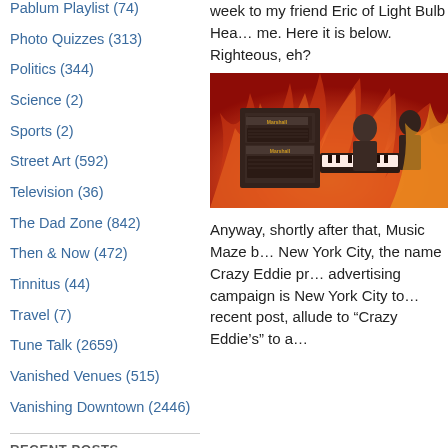Pablum Playlist (74)
Photo Quizzes (313)
Politics (344)
Science (2)
Sports (2)
Street Art (592)
Television (36)
The Dad Zone (842)
Then & Now (472)
Tinnitus (44)
Travel (7)
Tune Talk (2659)
Vanished Venues (515)
Vanishing Downtown (2446)
RECENT POSTS
Bauhaus Bum Out
'What's Your Favorite Album?
week to my friend Eric of Light Bulb Hea... me. Here it is below. Righteous, eh?
[Figure (photo): Band performing on stage with Marshall amplifiers and a fire/flames backdrop, musicians with keyboards and guitars visible]
Anyway, shortly after that, Music Maze b... New York City, the name Crazy Eddie pr... advertising campaign is New York City to... recent post, allude to "Crazy Eddie's" to a...